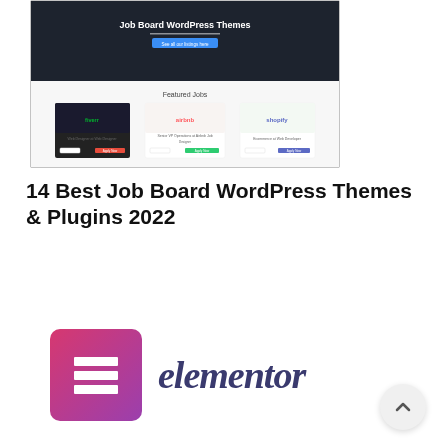[Figure (screenshot): Screenshot of a Job Board WordPress Themes website showing a dark hero section with the heading 'Job Board WordPress Themes' and featured jobs cards below with logos for Fiverr, Airbnb, and Shopify]
14 Best Job Board WordPress Themes & Plugins 2022
[Figure (logo): Elementor logo consisting of a pink/purple square icon with the letter E made of horizontal bars, alongside the word 'elementor' in dark navy italic script]